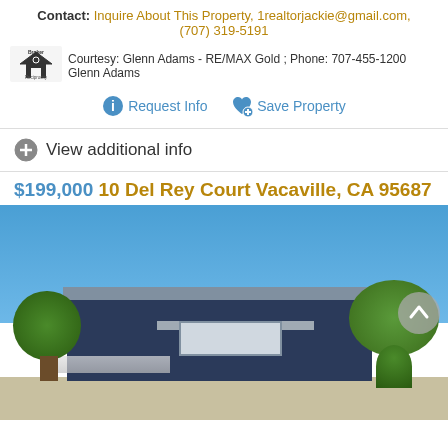Contact: Inquire About This Property, 1realtorjackie@gmail.com, (707) 319-5191
Courtesy: Glenn Adams - RE/MAX Gold ; Phone: 707-455-1200 Glenn Adams
Request Info  Save Property
View additional info
$199,000  10 Del Rey Court Vacaville, CA 95687
[Figure (photo): Exterior photo of a blue single-story mobile home with white trim and awning, surrounded by round-topped trees, under a clear blue sky.]